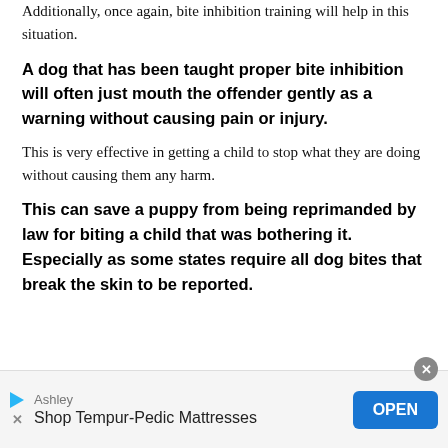Additionally, once again, bite inhibition training will help in this situation.
A dog that has been taught proper bite inhibition will often just mouth the offender gently as a warning without causing pain or injury.
This is very effective in getting a child to stop what they are doing without causing them any harm.
This can save a puppy from being reprimanded by law for biting a child that was bothering it. Especially as some states require all dog bites that break the skin to be reported.
[Figure (screenshot): Mobile advertisement banner for Ashley furniture - Shop Tempur-Pedic Mattresses with an OPEN button]